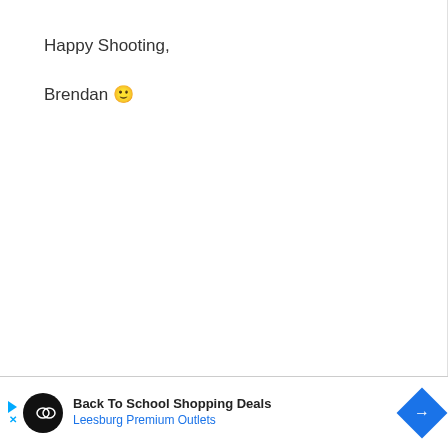Happy Shooting,
Brendan 🙂
[Figure (other): Advertisement banner: Back To School Shopping Deals - Leesburg Premium Outlets, with play/close controls, circular black logo with infinity-like symbol, and blue diamond arrow button]